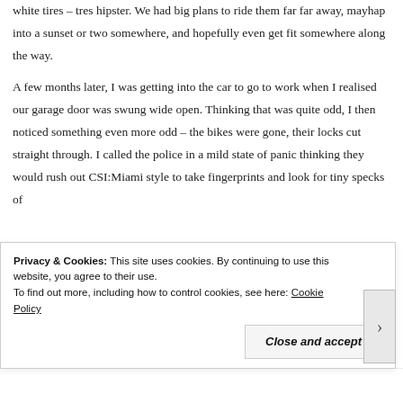white tires – tres hipster. We had big plans to ride them far far away, mayhap into a sunset or two somewhere, and hopefully even get fit somewhere along the way.
A few months later, I was getting into the car to go to work when I realised our garage door was swung wide open. Thinking that was quite odd, I then noticed something even more odd – the bikes were gone, their locks cut straight through. I called the police in a mild state of panic thinking they would rush out CSI:Miami style to take fingerprints and look for tiny specks of
Privacy & Cookies: This site uses cookies. By continuing to use this website, you agree to their use.
To find out more, including how to control cookies, see here: Cookie Policy
Close and accept